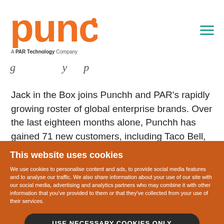[Figure (logo): Punchh logo in orange with 'A PAR Technology Company' tagline below]
Jack in the Box joins Punchh and PAR's rapidly growing roster of global enterprise brands. Over the last eighteen months alone, Punchh has gained 71 new customers, including Taco Bell, CKE,
This website uses cookies
We use cookies to personalise content and ads, to provide social media features and to analyse our traffic. We also share information about your use of our site with our social media, advertising and analytics partners who may combine it with other information that you've provided to them or that they've collected from your use of their services.
USE NECESSARY COOKIES ONLY
ALLOW ALL COOKIES